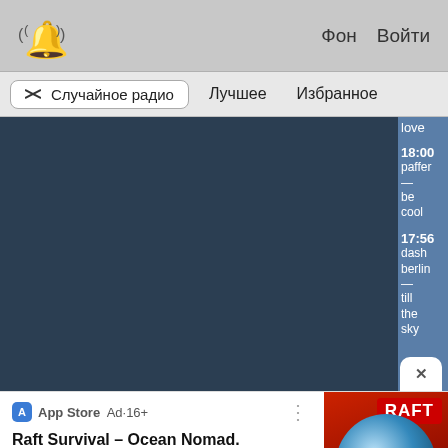[Figure (screenshot): App top bar with bell/notification icon on left and Фон/Войти links on right]
Случайное радио   Лучшее   Избранное
[Figure (screenshot): Radio app content area, dark blue panel on left, right sidebar with programme listing: love, 18:00 paffen — be cool, 17:56 dash berlin — till the sky, with close X button]
[Figure (screenshot): App Store advertisement banner: Raft Survival – Ocean Nomad. Download on your iOS! with 5-star rating, Free, and download button. Raft game icon with shark on right.]
App Store  Ad·16+
Raft Survival – Ocean Nomad. Download on your iOS!
Free